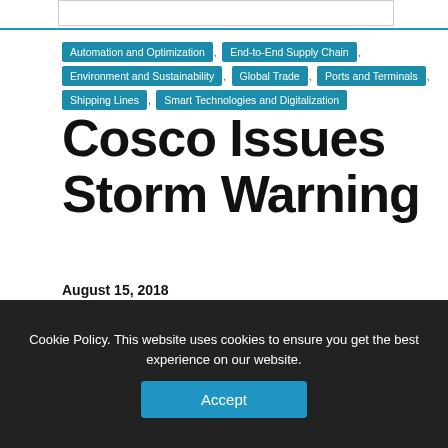Automation and Optimization , End-to-End Supply Chain , Environment and Sustainability , Global Trade , Ports and Terminals , Shipping Lines , Smart Technologies and Digitalization
Cosco Issues Storm Warning
August 15, 2018
By Jack Donnelly
TWITTER  FACEBOOK  LINKEDIN  EMAIL
Cookie Policy. This website uses cookies to ensure you get the best experience on our website.